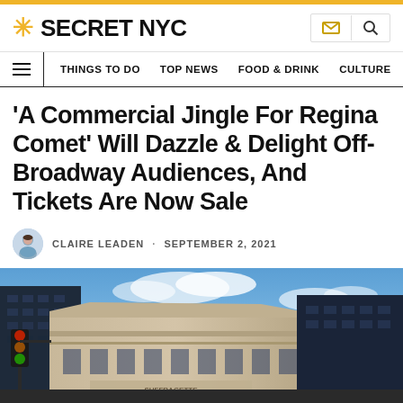SECRET NYC
THINGS TO DO · TOP NEWS · FOOD & DRINK · CULTURE
'A Commercial Jingle For Regina Comet' Will Dazzle & Delight Off-Broadway Audiences, And Tickets Are Now Sale
CLAIRE LEADEN · SEPTEMBER 2, 2021
[Figure (photo): Exterior of a New York City building at dusk with blue sky, traffic lights visible, art deco-style facade with ornate details.]